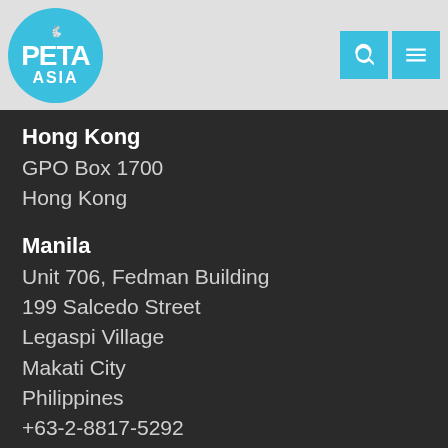[Figure (logo): PETA Asia logo — white text on cyan circle with small bunny icon]
Hong Kong
GPO Box 1700
Hong Kong
Manila
Unit 706, Fedman Building
199 Salcedo Street
Legaspi Village
Makati City
Philippines
+63-2-8817-5292
Get Involved
About Us
Contact PETA Asia
Careers